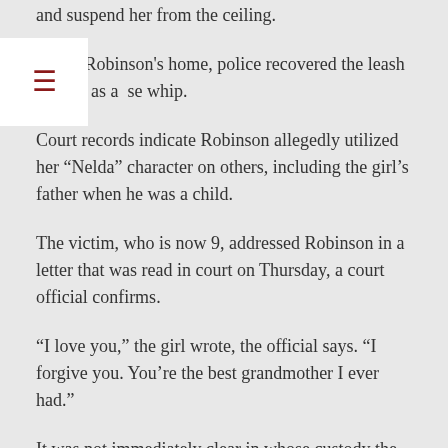and suspend her from the ceiling.
Inside Robinson's home, police recovered the leash as well as a horse whip.
Court records indicate Robinson allegedly utilized her “Nelda” character on others, including the girl’s father when he was a child.
The victim, who is now 9, addressed Robinson in a letter that was read in court on Thursday, a court official confirms.
“I love you,” the girl wrote, the official says. “I forgive you. You’re the best grandmother I ever had.”
It was not immediately clear in whose custody the child is now.
Lawyers for both defendants were unavailable for comment Monday afternoon.